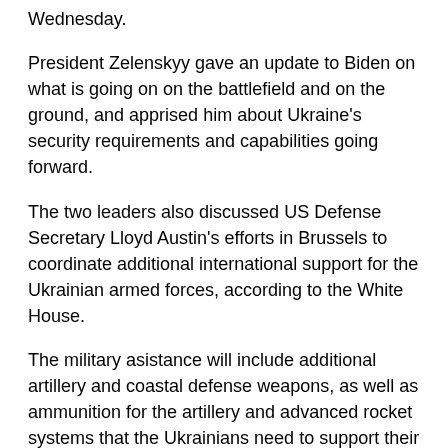Wednesday.
President Zelenskyy gave an update to Biden on what is going on on the battlefield and on the ground, and apprised him about Ukraine's security requirements and capabilities going forward.
The two leaders also discussed US Defense Secretary Lloyd Austin's efforts in Brussels to coordinate additional international support for the Ukrainian armed forces, according to the White House.
The military asistance will include additional artillery and coastal defense weapons, as well as ammunition for the artillery and advanced rocket systems that the Ukrainians need to support their defensive operations in the Donbas.
Biden has also announced an additional $225 million in humanitarian assistance to help people inside Ukraine, including by supplying safe drinking water, critical medical supplies and health care, food, shelter, and cash for families